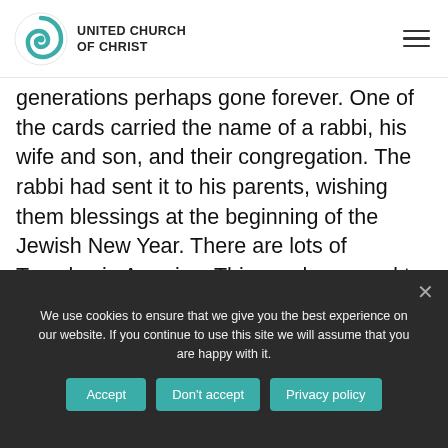UNITED CHURCH OF CHRIST
generations perhaps gone forever. One of the cards carried the name of a rabbi, his wife and son, and their congregation. The rabbi had sent it to his parents, wishing them blessings at the beginning of the Jewish New Year. There are lots of Temples in America. This one happened to be in Petoskey, Mich., served by a student rabbi 20
We use cookies to ensure that we give you the best experience on our website. If you continue to use this site we will assume that you are happy with it.